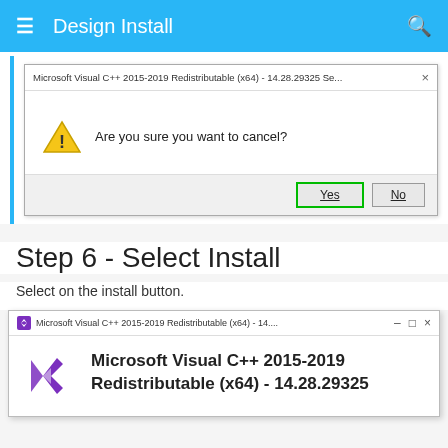Design Install
[Figure (screenshot): Windows dialog box asking 'Are you sure you want to cancel?' with Yes and No buttons, Yes highlighted with green border. Title bar shows 'Microsoft Visual C++ 2015-2019 Redistributable (x64) - 14.28.29325 Se...']
Step 6 - Select Install
Select on the install button.
[Figure (screenshot): Windows installer dialog for Microsoft Visual C++ 2015-2019 Redistributable (x64) - 14.28.29325 showing the Visual Studio logo and product name]